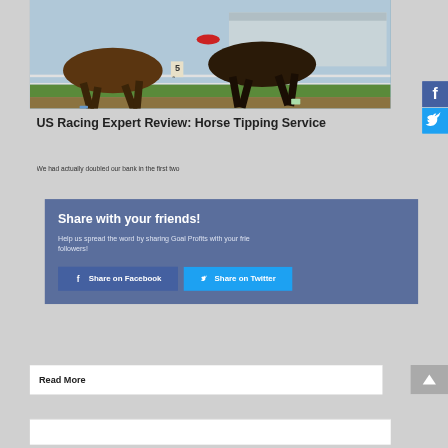[Figure (photo): Close-up photo of horse race legs running on a dirt track, with racing facility visible in background]
US Racing Expert Review: Horse Tipping Service
We had actually doubled our bank in the first two
[Figure (infographic): Social share popup overlay with blue background. Contains heading 'Share with your friends!', subtext 'Help us spread the word by sharing Goal Profits with your friends and followers!', and two buttons: 'Share on Facebook' (dark blue) and 'Share on Twitter' (light blue)]
Read More